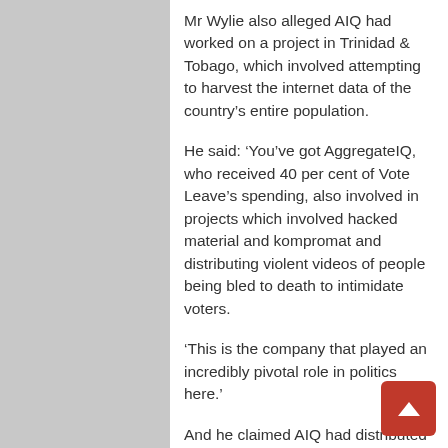Mr Wylie also alleged AIQ had worked on a project in Trinidad & Tobago, which involved attempting to harvest the internet data of the country's entire population.
He said: ‘You’ve got AggregateIQ, who received 40 per cent of Vote Leave’s spending, also involved in projects which involved hacked material and kompromat and distributing violent videos of people being bled to death to intimidate voters.
‘This is the company that played an incredibly pivotal role in politics here.’
And he claimed AIQ had distributed compromising material – known as